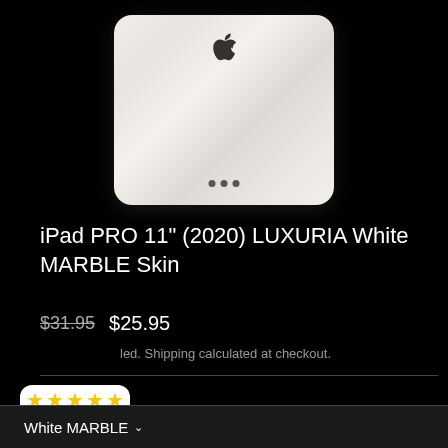[Figure (photo): iPad PRO with white marble skin shown from the back, with Apple logo at top and three dots at bottom, on black background]
iPad PRO 11" (2020) LUXURIA White MARBLE Skin
$31.95  $25.95
Shipping calculated at checkout.
4.99 stars rating badge with eTrust emblem
White MARBLE